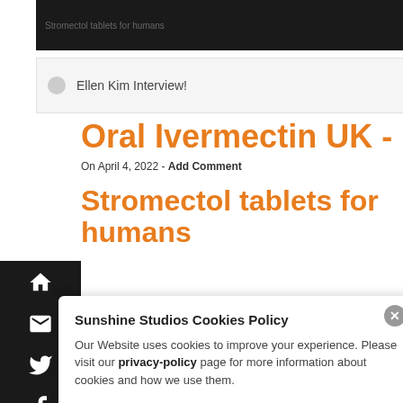[Figure (screenshot): Dark background image with text 'Stromectol tablets for humans' in grey]
Ellen Kim Interview!
Oral Ivermectin UK -
On April 4, 2022 - Add Comment
Stromectol tablets for humans
Sunshine Studios Cookies Policy
Our Website uses cookies to improve your experience. Please visit our privacy-policy page for more information about cookies and how we use them.